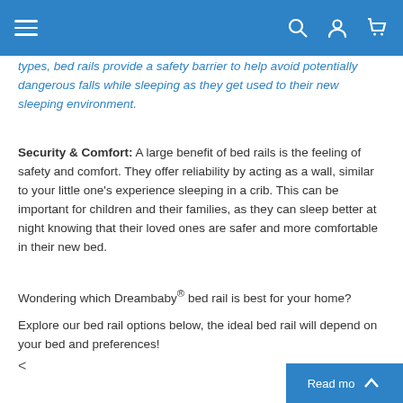Navigation bar with menu, search, account, and cart icons
types, bed rails provide a safety barrier to help avoid potentially dangerous falls while sleeping as they get used to their new sleeping environment.
Security & Comfort: A large benefit of bed rails is the feeling of safety and comfort. They offer reliability by acting as a wall, similar to your little one's experience sleeping in a crib. This can be important for children and their families, as they can sleep better at night knowing that their loved ones are safer and more comfortable in their new bed.
Wondering which Dreambaby® bed rail is best for your home?
Explore our bed rail options below, the ideal bed rail will depend on your bed and preferences!
<
Read mo